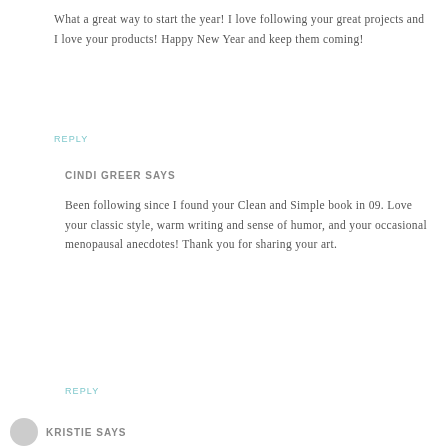What a great way to start the year! I love following your great projects and I love your products! Happy New Year and keep them coming!
REPLY
CINDI GREER SAYS
Been following since I found your Clean and Simple book in 09. Love your classic style, warm writing and sense of humor, and your occasional menopausal anecdotes! Thank you for sharing your art.
REPLY
KRISTIE SAYS